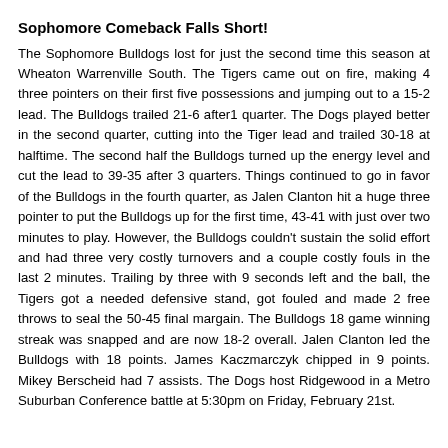Sophomore Comeback Falls Short!
The Sophomore Bulldogs lost for just the second time this season at Wheaton Warrenville South. The Tigers came out on fire, making 4 three pointers on their first five possessions and jumping out to a 15-2 lead. The Bulldogs trailed 21-6 after1 quarter. The Dogs played better in the second quarter, cutting into the Tiger lead and trailed 30-18 at halftime. The second half the Bulldogs turned up the energy level and cut the lead to 39-35 after 3 quarters. Things continued to go in favor of the Bulldogs in the fourth quarter, as Jalen Clanton hit a huge three pointer to put the Bulldogs up for the first time, 43-41 with just over two minutes to play. However, the Bulldogs couldn't sustain the solid effort and had three very costly turnovers and a couple costly fouls in the last 2 minutes. Trailing by three with 9 seconds left and the ball, the Tigers got a needed defensive stand, got fouled and made 2 free throws to seal the 50-45 final margain. The Bulldogs 18 game winning streak was snapped and are now 18-2 overall. Jalen Clanton led the Bulldogs with 18 points. James Kaczmarczyk chipped in 9 points. Mikey Berscheid had 7 assists. The Dogs host Ridgewood in a Metro Suburban Conference battle at 5:30pm on Friday, February 21st.